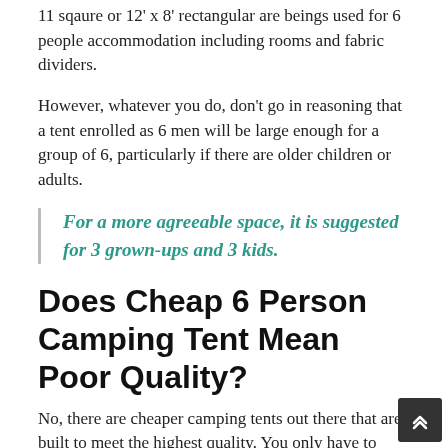11 sqaure or 12' x 8' rectangular are beings used for 6 people accommodation including rooms and fabric dividers.
However, whatever you do, don't go in reasoning that a tent enrolled as 6 men will be large enough for a group of 6, particularly if there are older children or adults.
For a more agreeable space, it is suggested for 3 grown-ups and 3 kids.
Does Cheap 6 Person Camping Tent Mean Poor Quality?
No, there are cheaper camping tents out there that are built to meet the highest quality. You only have to check on the materials and other quality